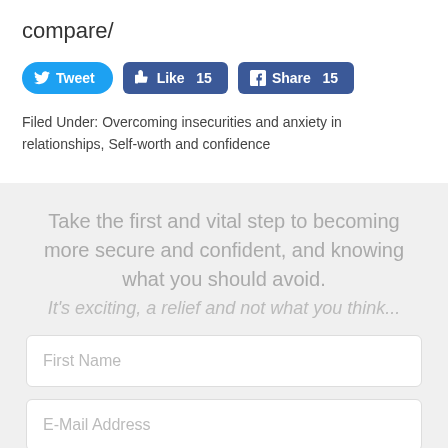compare/
[Figure (other): Social sharing buttons: Tweet, Like 15, Share 15]
Filed Under: Overcoming insecurities and anxiety in relationships, Self-worth and confidence
Take the first and vital step to becoming more secure and confident, and knowing what you should avoid. It's exciting, a relief and not what you think...
First Name
E-Mail Address